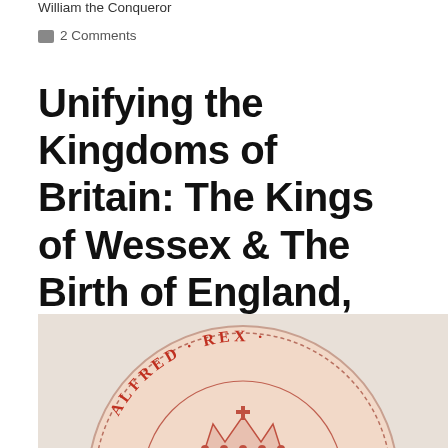William the Conqueror
2 Comments
Unifying the Kingdoms of Britain: The Kings of Wessex & The Birth of England, 871-1031.
[Figure (photo): A medieval coin or seal featuring a crown in the center with red decorative lettering around the border reading 'ALFRED REX', on a pale pinkish-beige background.]